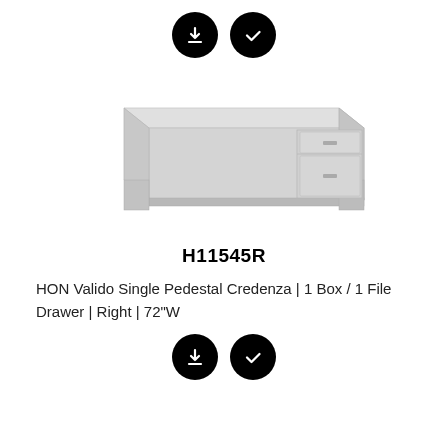[Figure (other): Two black circular icon buttons: a download arrow icon and a checkmark icon]
[Figure (photo): Product photo of HON Valido Single Pedestal Credenza, light gray finish, rectangular shape with two drawers on the right side]
H11545R
HON Valido Single Pedestal Credenza | 1 Box / 1 File Drawer | Right | 72"W
[Figure (other): Two black circular icon buttons: a download arrow icon and a checkmark icon]